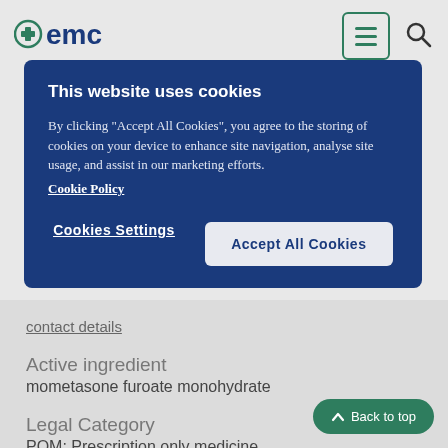emc
This website uses cookies
By clicking "Accept All Cookies", you agree to the storing of cookies on your device to enhance site navigation, analyse site usage, and assist in our marketing efforts. Cookie Policy
contact details
Active ingredient
mometasone furoate monohydrate
Legal Category
POM: Prescription only medicine
ATC code